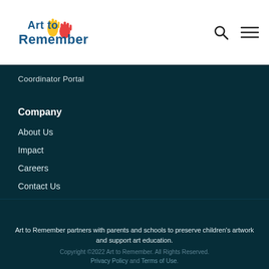[Figure (logo): Art to Remember logo with colorful handprint icons and stylized text]
Coordinator Portal
Company
About Us
Impact
Careers
Contact Us
Art to Remember partners with parents and schools to preserve children's artwork and support art education.
Copyright ©2022 Art to Remember. All Rights Reserved. Privacy Policy and Terms of Use.